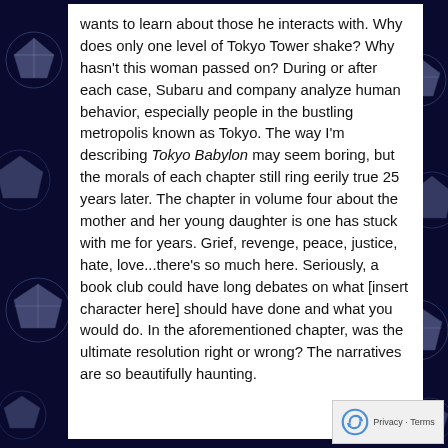wants to learn about those he interacts with. Why does only one level of Tokyo Tower shake? Why hasn't this woman passed on? During or after each case, Subaru and company analyze human behavior, especially people in the bustling metropolis known as Tokyo. The way I'm describing Tokyo Babylon may seem boring, but the morals of each chapter still ring eerily true 25 years later. The chapter in volume four about the mother and her young daughter is one has stuck with me for years. Grief, revenge, peace, justice, hate, love...there's so much here. Seriously, a book club could have long debates on what [insert character here] should have done and what you would do. In the aforementioned chapter, was the ultimate resolution right or wrong? The narratives are so beautifully haunting.